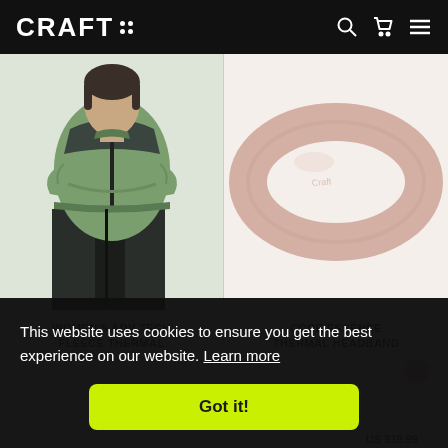CRAFT [logo with dots]
[Figure (photo): Woman wearing green CRAFT ADV Tech Fleece Thermal jacket and black pants, arms crossed, against light background]
[Figure (photo): Pink CRAFT Core Essence Thermal Headband on white background]
WOMEN'S ADV TECH FLEECE THERMAL
CORE ESSENCE THERMAL HEADBAND
This website uses cookies to ensure you get the best experience on our website. Learn more
Got it!
US $19.99